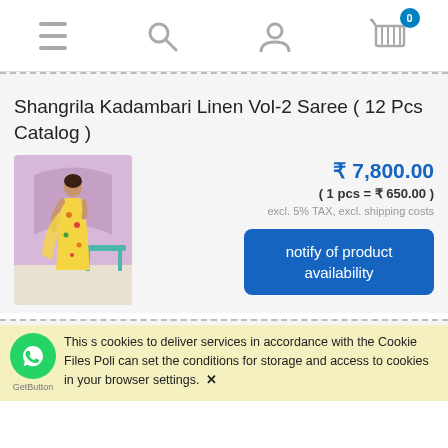Navigation bar with menu, search, user, and cart icons
Shangrila Kadambari Linen Vol-2 Saree ( 12 Pcs Catalog )
[Figure (photo): Photo of a woman wearing a yellow floral linen saree, standing in front of a pink wall with a teal bench]
₹ 7,800.00
( 1 pcs = ₹ 650.00 )
excl. 5% TAX, excl. shipping costs
notify of product availability
This site uses cookies to deliver services in accordance with the Cookie Files Policy. You can set the conditions for storage and access to cookies in your browser settings. ✕